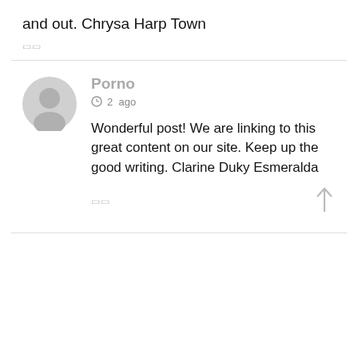and out. Chrysa Harp Town
⬜⬜
Porno
⊙ 2 ago
Wonderful post! We are linking to this great content on our site. Keep up the good writing. Clarine Duky Esmeralda
⬜⬜